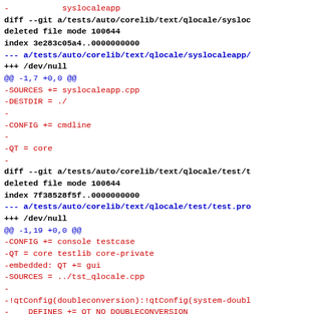-           syslocaleapp
diff --git a/tests/auto/corelib/text/qlocale/sysloc
deleted file mode 100644
index 3e283c05a4..0000000000
--- a/tests/auto/corelib/text/qlocale/syslocaleapp/
+++ /dev/null
@@ -1,7 +0,0 @@
-SOURCES += syslocaleapp.cpp
-DESTDIR = ./
-
-CONFIG += cmdline
-
-QT = core
-
diff --git a/tests/auto/corelib/text/qlocale/test/t
deleted file mode 100644
index 7f38528f5f..0000000000
--- a/tests/auto/corelib/text/qlocale/test/test.pro
+++ /dev/null
@@ -1,19 +0,0 @@
-CONFIG += console testcase
-QT = core testlib core-private
-embedded: QT += gui
-SOURCES = ../tst_qlocale.cpp
-
-!qtConfig(doubleconversion):!qtConfig(system-doubl
-    DEFINES += QT_NO_DOUBLECONVERSION
-}